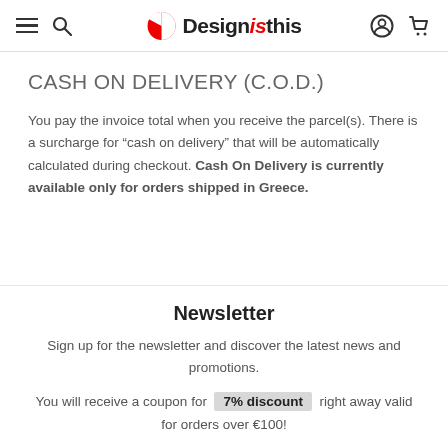Designisthis
CASH ON DELIVERY (C.O.D.)
You pay the invoice total when you receive the parcel(s). There is a surcharge for “cash on delivery” that will be automatically calculated during checkout. Cash On Delivery is currently available only for orders shipped in Greece.
Newsletter
Sign up for the newsletter and discover the latest news and promotions.
You will receive a coupon for 7% discount right away valid for orders over €100!